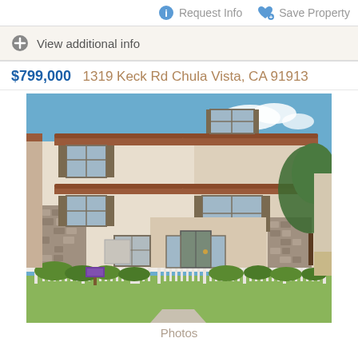Request Info
Save Property
View additional info
$799,000   1319 Keck Rd Chula Vista, CA 91913
[Figure (photo): Exterior photo of a three-story Mediterranean-style home with tan stucco, stone accents, white picket fence, and lush landscaping at 1319 Keck Rd Chula Vista CA 91913]
Photos